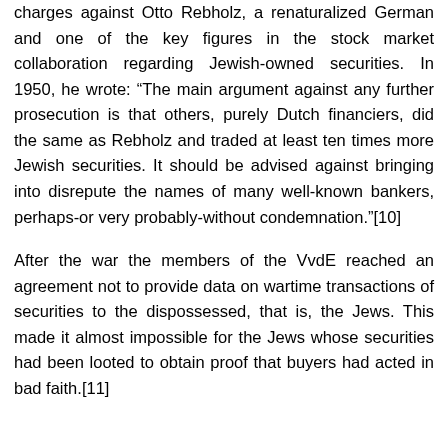charges against Otto Rebholz, a renaturalized German and one of the key figures in the stock market collaboration regarding Jewish-owned securities. In 1950, he wrote: “The main argument against any further prosecution is that others, purely Dutch financiers, did the same as Rebholz and traded at least ten times more Jewish securities. It should be advised against bringing into disrepute the names of many well-known bankers, perhaps-or very probably-without condemnation.”[10]
After the war the members of the VvdE reached an agreement not to provide data on wartime transactions of securities to the dispossessed, that is, the Jews. This made it almost impossible for the Jews whose securities had been looted to obtain proof that buyers had acted in bad faith.[11]